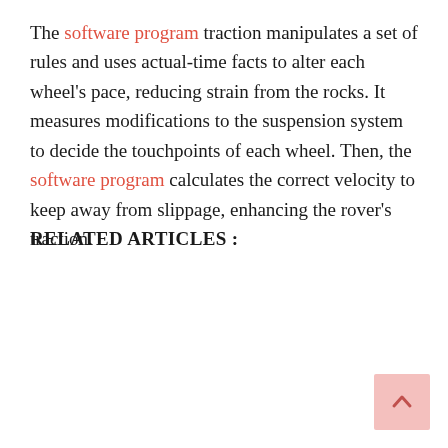The software program traction manipulates a set of rules and uses actual-time facts to alter each wheel's pace, reducing strain from the rocks. It measures modifications to the suspension system to decide the touchpoints of each wheel. Then, the software program calculates the correct velocity to keep away from slippage, enhancing the rover's traction.
RELATED ARTICLES :